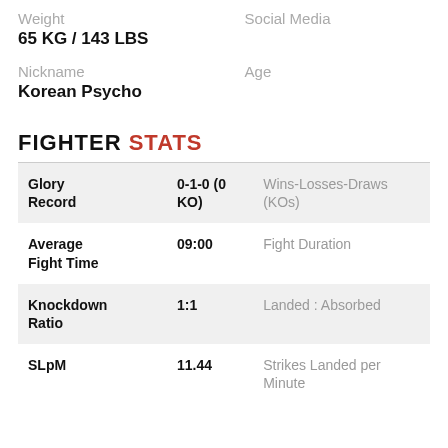Weight
Social Media
65 KG / 143 LBS
Nickname
Age
Korean Psycho
FIGHTER STATS
| Stat | Value | Description |
| --- | --- | --- |
| Glory Record | 0-1-0 (0 KO) | Wins-Losses-Draws (KOs) |
| Average Fight Time | 09:00 | Fight Duration |
| Knockdown Ratio | 1:1 | Landed : Absorbed |
| SLpM | 11.44 | Strikes Landed per Minute |